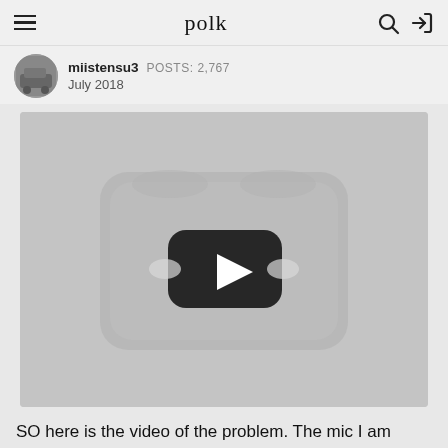polk
miistensu3  POSTS: 2,767
July 2018
[Figure (screenshot): Embedded YouTube-style video player thumbnail showing a play button (white triangle inside a rounded black rectangle) on a grey background]
SO here is the video of the problem. The mic I am using is incompatible with...